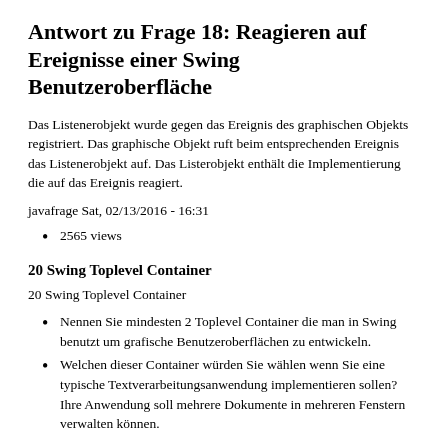Antwort zu Frage 18: Reagieren auf Ereignisse einer Swing Benutzeroberfläche
Das Listenerobjekt wurde gegen das Ereignis des graphischen Objekts registriert. Das graphische Objekt ruft beim entsprechenden Ereignis das Listenerobjekt auf. Das Listerobjekt enthält die Implementierung die auf das Ereignis reagiert.
javafrage Sat, 02/13/2016 - 16:31
2565 views
20 Swing Toplevel Container
20 Swing Toplevel Container
Nennen Sie mindesten 2 Toplevel Container die man in Swing benutzt um grafische Benutzeroberflächen zu entwickeln.
Welchen dieser Container würden Sie wählen wenn Sie eine typische Textverarbeitungsanwendung implementieren sollen? Ihre Anwendung soll mehrere Dokumente in mehreren Fenstern verwalten können.